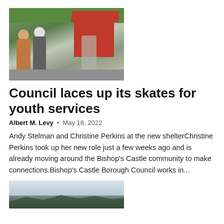[Figure (photo): Two people standing next to a red bus shelter structure outdoors, with greenery in background]
Council laces up its skates for youth services
Albert M. Levy • May 18, 2022
Andy Stelman and Christine Perkins at the new shelterChristine Perkins took up her new role just a few weeks ago and is already moving around the Bishop's Castle community to make connections.Bishop's Castle Borough Council works in...
[Figure (photo): Landscape photo showing dark hills or mountains against a grey sky]